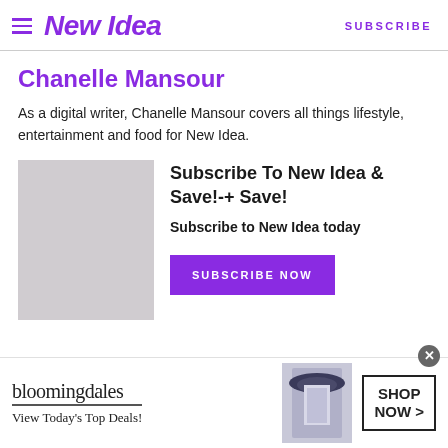New Idea  |  SUBSCRIBE
Chanelle Mansour
As a digital writer, Chanelle Mansour covers all things lifestyle, entertainment and food for New Idea.
[Figure (illustration): Gray placeholder image for magazine subscription promo]
Subscribe To New Idea & Save!-+ Save!
Subscribe to New Idea today
SUBSCRIBE NOW
[Figure (infographic): Bloomingdale's advertisement banner: 'View Today's Top Deals!' with woman in hat and SHOP NOW button]